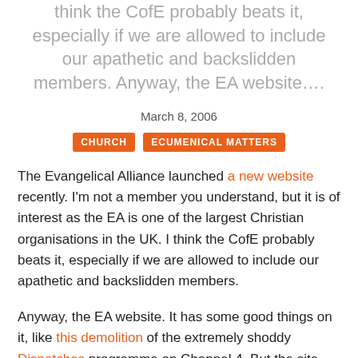think the CofE probably beats it, especially if we are allowed to include our apathetic and backslidden members. Anyway, the EA website….
March 8, 2006
CHURCH   ECUMENICAL MATTERS
The Evangelical Alliance launched a new website recently. I'm not a member you understand, but it is of interest as the EA is one of the largest Christian organisations in the UK. I think the CofE probably beats it, especially if we are allowed to include our apathetic and backslidden members.
Anyway, the EA website. It has some good things on it, like this demolition of the extremely shoddy Dispatches programme on Channel 4. But the site